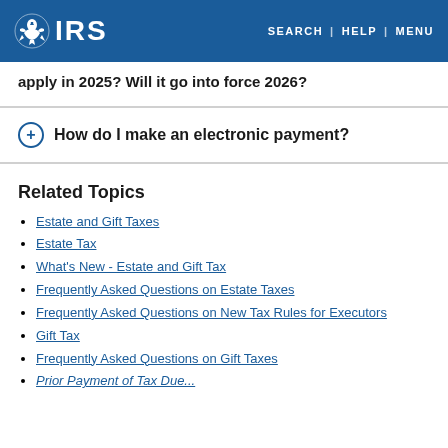IRS | SEARCH | HELP | MENU
apply in 2025? Will it go into force 2026?
How do I make an electronic payment?
Related Topics
Estate and Gift Taxes
Estate Tax
What's New - Estate and Gift Tax
Frequently Asked Questions on Estate Taxes
Frequently Asked Questions on New Tax Rules for Executors
Gift Tax
Frequently Asked Questions on Gift Taxes
Prior Payment of Tax Due...